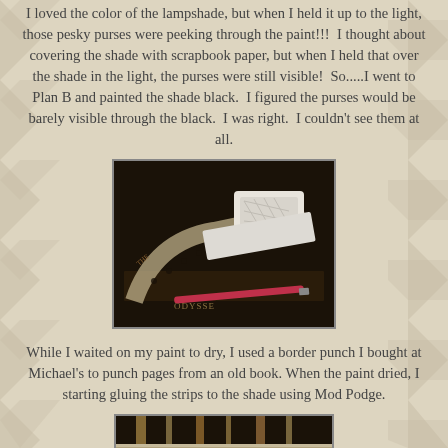I loved the color of the lampshade, but when I held it up to the light, those pesky purses were peeking through the paint!!!  I thought about covering the shade with scrapbook paper, but when I held that over the shade in the light, the purses were still visible!  So.....I went to Plan B and painted the shade black.  I figured the purses would be barely visible through the black.  I was right.  I couldn't see them at all.
[Figure (photo): Dark photograph showing craft supplies including a border punch tool, pages from an old book with lace-like punched edges, a pink pen, and what appears to be a white rectangular object, all arranged on a dark surface.]
While I waited on my paint to dry, I used a border punch I bought at Michael's to punch pages from an old book. When the paint dried, I starting gluing the strips to the shade using Mod Podge.
[Figure (photo): Partial photo showing the bottom of a lampshade with strips of punched book pages being glued on with Mod Podge.]